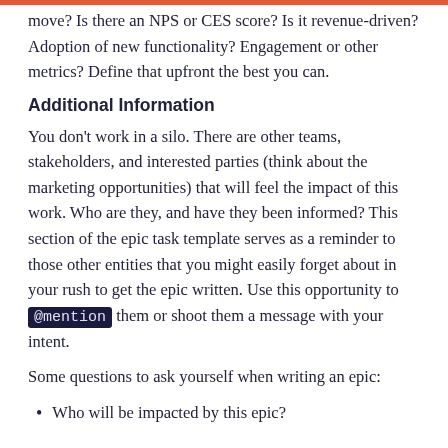move? Is there an NPS or CES score? Is it revenue-driven? Adoption of new functionality? Engagement or other metrics? Define that upfront the best you can.
Additional Information
You don't work in a silo. There are other teams, stakeholders, and interested parties (think about the marketing opportunities) that will feel the impact of this work. Who are they, and have they been informed? This section of the epic task template serves as a reminder to those other entities that you might easily forget about in your rush to get the epic written. Use this opportunity to @mention them or shoot them a message with your intent.
Some questions to ask yourself when writing an epic:
Who will be impacted by this epic?